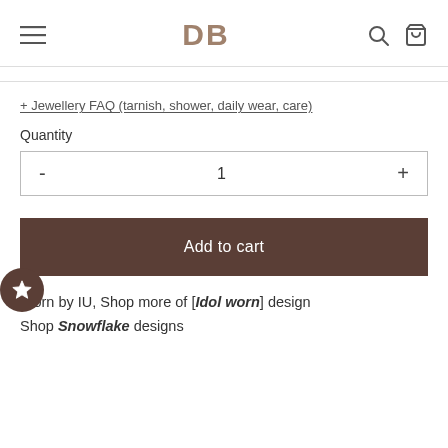DB
+ Jewellery FAQ (tarnish, shower, daily wear, care)
Quantity
- 1 +
Add to cart
Worn by IU, Shop more of [Idol worn] design
Shop Snowflake designs